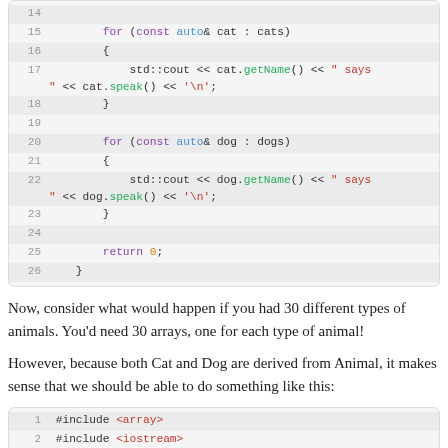[Figure (screenshot): Code block lines 14-26 showing C++ for loops iterating over cats and dogs arrays, printing name and speak output, then return 0 and closing brace.]
Now, consider what would happen if you had 30 different types of animals. You'd need 30 arrays, one for each type of animal!
However, because both Cat and Dog are derived from Animal, it makes sense that we should be able to do something like this:
[Figure (screenshot): Code block lines 1-4: #include <array>, #include <iostream>, blank line, // Cat and Dog from the example above]